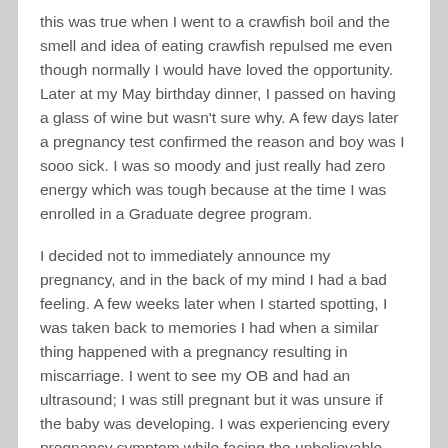this was true when I went to a crawfish boil and the smell and idea of eating crawfish repulsed me even though normally I would have loved the opportunity. Later at my May birthday dinner, I passed on having a glass of wine but wasn't sure why. A few days later a pregnancy test confirmed the reason and boy was I sooo sick. I was so moody and just really had zero energy which was tough because at the time I was enrolled in a Graduate degree program.
I decided not to immediately announce my pregnancy, and in the back of my mind I had a bad feeling. A few weeks later when I started spotting, I was taken back to memories I had when a similar thing happened with a pregnancy resulting in miscarriage. I went to see my OB and had an ultrasound; I was still pregnant but it was unsure if the baby was developing. I was experiencing every pregnancy symptom while facing the unbelievable possibility that this pregnancy could end. I had to keep going in for ultrasounds to check